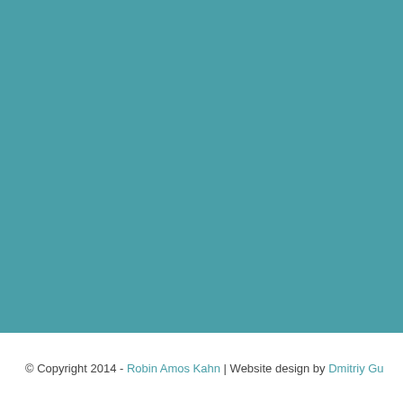[Figure (other): Solid teal/muted cyan background filling the upper portion of the page]
© Copyright 2014 - Robin Amos Kahn | Website design by Dmitriy Gu